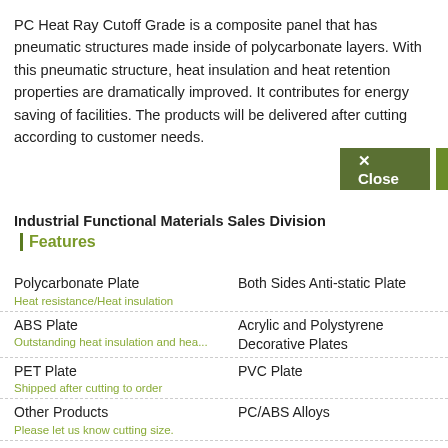PC Heat Ray Cutoff Grade is a composite panel that has pneumatic structures made inside of polycarbonate layers. With this pneumatic structure, heat insulation and heat retention properties are dramatically improved. It contributes for energy saving of facilities. The products will be delivered after cutting according to customer needs.
Industrial Functional Materials Sales Division
Features
Polycarbonate Plate
Heat resistance/Heat insulation
Both Sides Anti-static Plate
ABS Plate
Acrylic and Polystyrene
Outstanding heat insulation and heat...
Decorative Plates
PET Plate
PVC Plate
Shipped after cutting to order
Other Products
PC/ABS Alloys
Please let us know cutting size.
Halogen-free, Flame Retardant, Heat Resistant Sheet
Aluminium based decorative laminates
Impact resistance lighting property